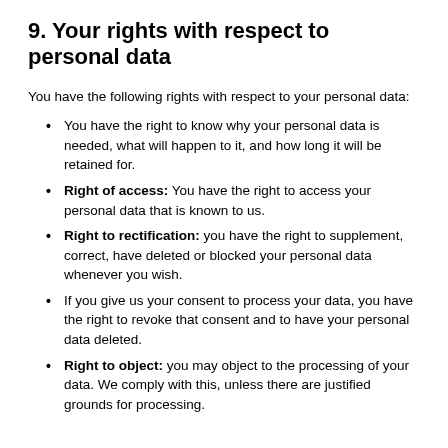9. Your rights with respect to personal data
You have the following rights with respect to your personal data:
You have the right to know why your personal data is needed, what will happen to it, and how long it will be retained for.
Right of access: You have the right to access your personal data that is known to us.
Right to rectification: you have the right to supplement, correct, have deleted or blocked your personal data whenever you wish.
If you give us your consent to process your data, you have the right to revoke that consent and to have your personal data deleted.
Right to object: you may object to the processing of your data. We comply with this, unless there are justified grounds for processing.